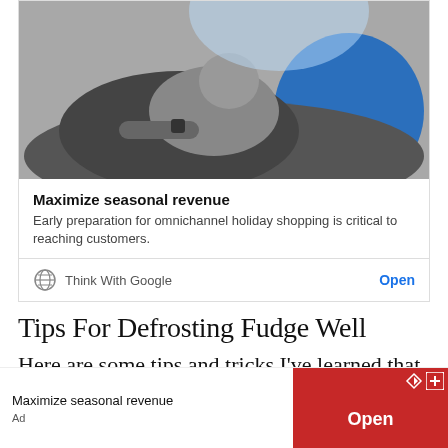[Figure (photo): Black and white photo of a man lying down with a sleeping baby on his chest; a blue circular shape overlaid on the right side]
Maximize seasonal revenue
Early preparation for omnichannel holiday shopping is critical to reaching customers.
Think With Google   Open
Tips For Defrosting Fudge Well
Here are some tips and tricks I've learned that you could use the next time you want to thaw fudge
[Figure (other): Bottom banner ad: 'Maximize seasonal revenue' with red Open button, Ad label, and small icons]